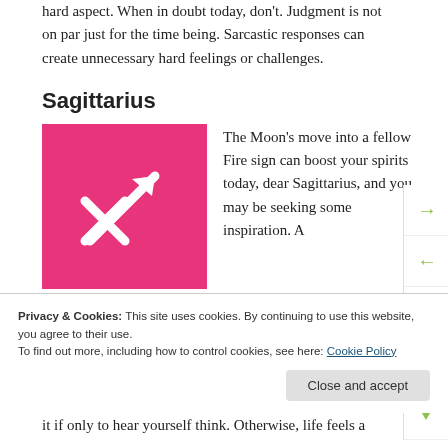hard aspect. When in doubt today, don't. Judgment is not on par just for the time being. Sarcastic responses can create unnecessary hard feelings or challenges.
Sagittarius
[Figure (illustration): Pink/hot-pink square with white Sagittarius zodiac symbol (arrow and crossbow/X shape) in the center]
The Moon's move into a fellow Fire sign can boost your spirits today, dear Sagittarius, and you may be seeking some inspiration. A
Privacy & Cookies: This site uses cookies. By continuing to use this website, you agree to their use. To find out more, including how to control cookies, see here: Cookie Policy
it if only to hear yourself think. Otherwise, life feels a